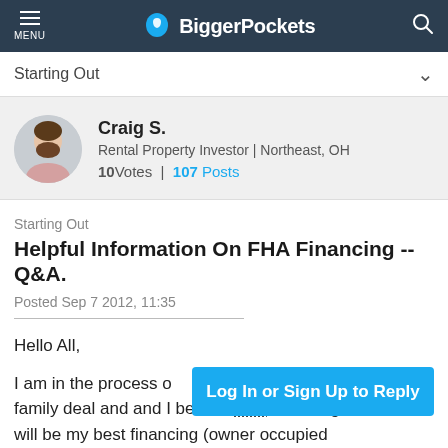MENU | BiggerPockets
Starting Out
[Figure (photo): Circular avatar photo of Craig S., a man with dark beard]
Craig S.
Rental Property Investor | Northeast, OH
10 Votes | 107 Posts
Starting Out
Helpful Information On FHA Financing -- Q&A.
Posted Sep 7 2012, 11:35
Hello All,
I am in the process of finding my first multi-family deal and and I believe FHA financing will be my best financing (owner occupied
Log In or Sign Up to Reply